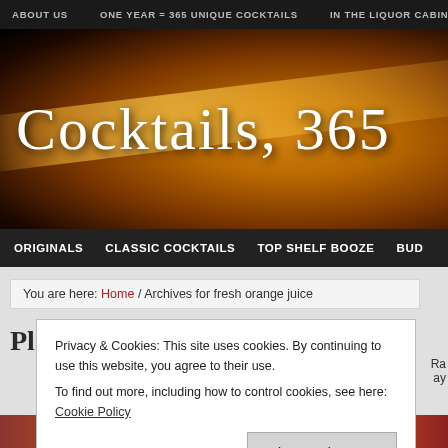ABOUT US  |  ONE YEAR = 365 UNIQUE COCKTAILS  |  IN THE LIQUOR CABIN
Cocktails, 365
ORIGINALS  CLASSIC COCKTAILS  TOP SHELF BOOZE  BUD
You are here: Home / Archives for fresh orange juice
Planter's
Privacy & Cookies: This site uses cookies. By continuing to use this website, you agree to their use.
To find out more, including how to control cookies, see here: Cookie Policy
Close and accept